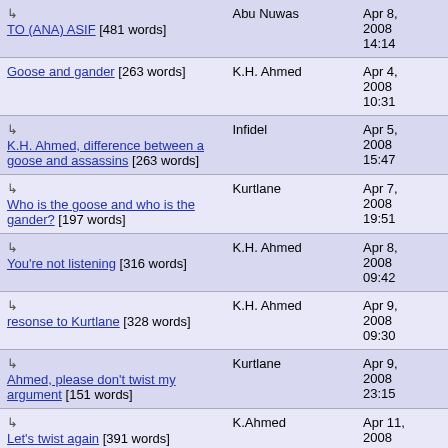| Topic | Author | Date |
| --- | --- | --- |
| ↳ TO (ANA) ASIF [481 words] | Abu Nuwas | Apr 8, 2008 14:14 |
| Goose and gander [263 words] | K.H. Ahmed | Apr 4, 2008 10:31 |
| ↳ K.H. Ahmed, difference between a goose and assassins [263 words] | Infidel | Apr 5, 2008 15:47 |
| ↳ Who is the goose and who is the gander? [197 words] | Kurtlane | Apr 7, 2008 19:51 |
| ↳ You're not listening [316 words] | K.H. Ahmed | Apr 8, 2008 09:42 |
| ↳ resonse to Kurtlane [328 words] | K.H. Ahmed | Apr 9, 2008 09:30 |
| ↳ Ahmed, please don't twist my argument [151 words] | Kurtlane | Apr 9, 2008 23:15 |
| ↳ Let's twist again [391 words] | K.Ahmed | Apr 11, 2008 09:17 |